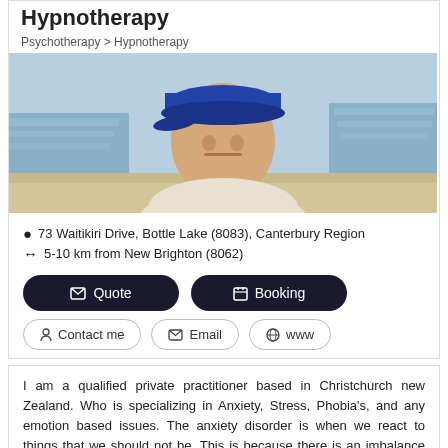Hypnotherapy
Psychotherapy > Hypnotherapy
[Figure (photo): A man wearing a blue baseball cap at a stadium, selfie photo outdoors with stadium crowd visible in background.]
73 Waitikiri Drive, Bottle Lake (8083), Canterbury Region
5-10 km from New Brighton (8062)
Quote | Booking | Contact me | Email | www
I am a qualified private practitioner based in Christchurch new Zealand. Who is specializing in Anxiety, Stress, Phobia's, and any emotion based issues. The anxiety disorder is when we react to things that we should not be. This is because there is an imbalance between the logical and emotional minds. When we conduct or normal daily tasks or